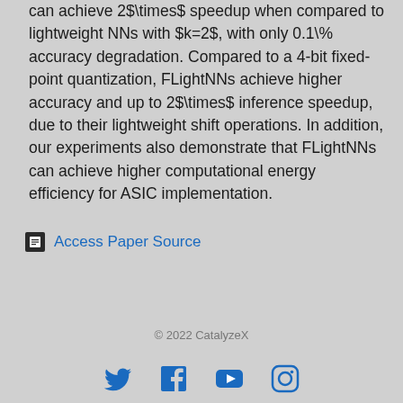can achieve 2×speedup when compared to lightweight NNs with k=2, with only 0.1% accuracy degradation. Compared to a 4-bit fixed-point quantization, FLightNNs achieve higher accuracy and up to 2× inference speedup, due to their lightweight shift operations. In addition, our experiments also demonstrate that FLightNNs can achieve higher computational energy efficiency for ASIC implementation.
Access Paper Source
© 2022 CatalyzeX